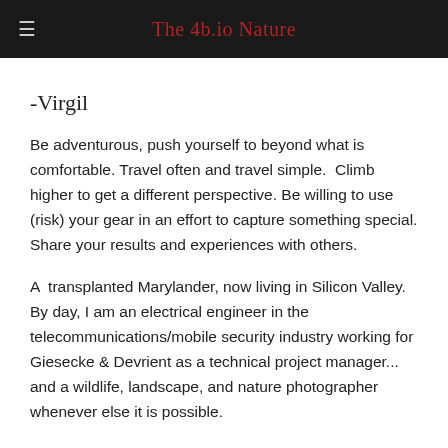The 4b.io Nature
-Virgil
Be adventurous, push yourself to beyond what is comfortable. Travel often and travel simple.  Climb higher to get a different perspective. Be willing to use (risk) your gear in an effort to capture something special. Share your results and experiences with others.
A  transplanted Marylander, now living in Silicon Valley.  By day, I am an electrical engineer in the telecommunications/mobile security industry working for Giesecke & Devrient as a technical project manager... and a wildlife, landscape, and nature photographer whenever else it is possible.